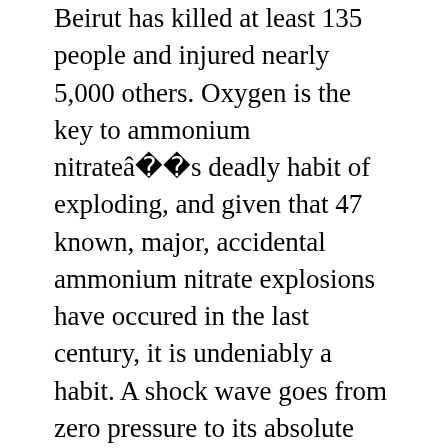Beirut has killed at least 135 people and injured nearly 5,000 others. Oxygen is the key to ammonium nitrateâs deadly habit of exploding, and given that 47 known, major, accidental ammonium nitrate explosions have occured in the last century, it is undeniably a habit. A shock wave goes from zero pressure to its absolute maximum pressure in literally zero seconds. It was, sadly, tragically, history repeating itself yet again: Explosives can be devastatingly lethal, and we should never underestimate their destructive fury. The videos also show an unnervingly uniform hemisphere of white propagating outward from the blast site, a dome of vicious vapor